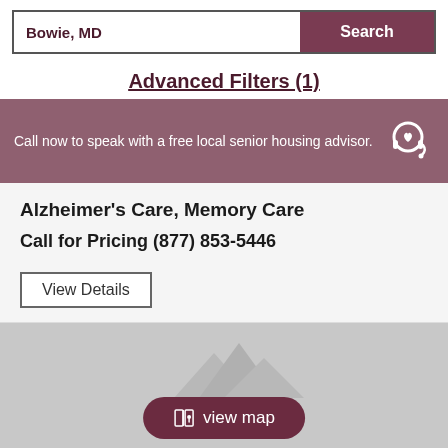Bowie, MD
Search
Advanced Filters (1)
Call now to speak with a free local senior housing advisor.
Alzheimer's Care, Memory Care
Call for Pricing (877) 853-5446
View Details
[Figure (map): Map area showing a view map button with location pin icon on a gray background with mountain silhouette icons]